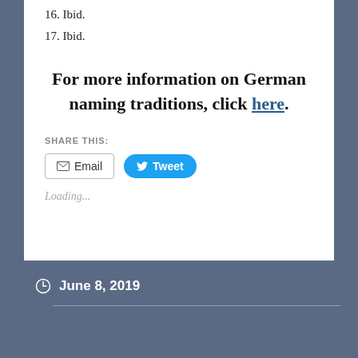16. Ibid.
17. Ibid.
For more information on German naming traditions, click here.
SHARE THIS:
Email
Tweet
Loading...
June 8, 2019